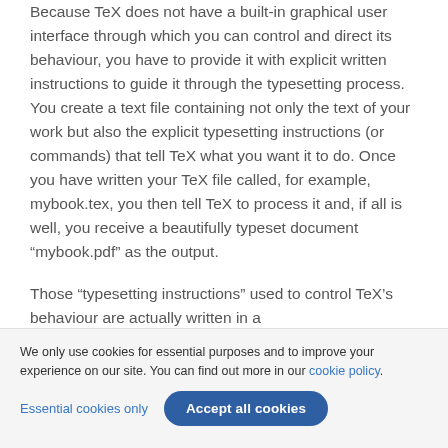Because TeX does not have a built-in graphical user interface through which you can control and direct its behaviour, you have to provide it with explicit written instructions to guide it through the typesetting process. You create a text file containing not only the text of your work but also the explicit typesetting instructions (or commands) that tell TeX what you want it to do. Once you have written your TeX file called, for example, mybook.tex, you then tell TeX to process it and, if all is well, you receive a beautifully typeset document “mybook.pdf” as the output.
Those “typesetting instructions” used to control TeX’s behaviour are actually written in a
We only use cookies for essential purposes and to improve your experience on our site. You can find out more in our cookie policy.